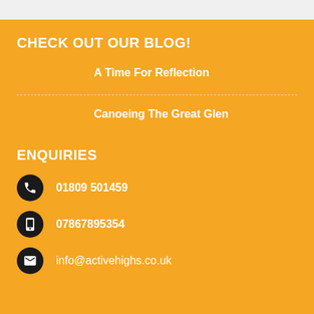CHECK OUT OUR BLOG!
A Time For Reflection
Canoeing The Great Glen
ENQUIRIES
01809 501459
07867895354
info@activehighs.co.uk